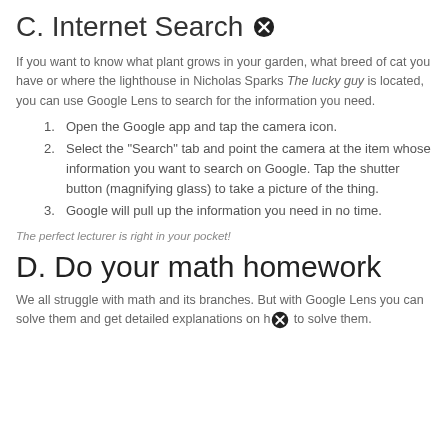C. Internet Search
If you want to know what plant grows in your garden, what breed of cat you have or where the lighthouse in Nicholas Sparks The lucky guy is located, you can use Google Lens to search for the information you need.
Open the Google app and tap the camera icon.
Select the "Search" tab and point the camera at the item whose information you want to search on Google. Tap the shutter button (magnifying glass) to take a picture of the thing.
Google will pull up the information you need in no time.
The perfect lecturer is right in your pocket!
D. Do your math homework
We all struggle with math and its branches. But with Google Lens you can solve them and get detailed explanations on how to solve them.